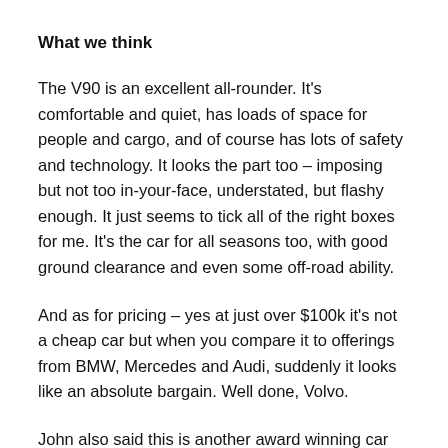What we think
The V90 is an excellent all-rounder. It's comfortable and quiet, has loads of space for people and cargo, and of course has lots of safety and technology. It looks the part too – imposing but not too in-your-face, understated, but flashy enough. It just seems to tick all of the right boxes for me. It's the car for all seasons too, with good ground clearance and even some off-road ability.
And as for pricing – yes at just over $100k it's not a cheap car but when you compare it to offerings from BMW, Mercedes and Audi, suddenly it looks like an absolute bargain. Well done, Volvo.
John also said this is another award winning car from Volvo, and that it can't be argued that Volvo are bringing the cool